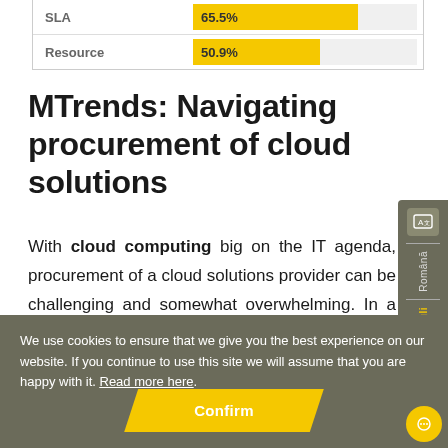| SLA | 65.5% |
| Resource | 50.9% |
MTrends: Navigating procurement of cloud solutions
With cloud computing big on the IT agenda, procurement of a cloud solutions provider can be challenging and somewhat overwhelming. In a recent YouGov poll we asked over 500 IT decision makers how they plan in an ever-changing IT landscape and wh...
We use cookies to ensure that we give you the best experience on our website. If you continue to use this site we will assume that you are happy with it. Read more here.